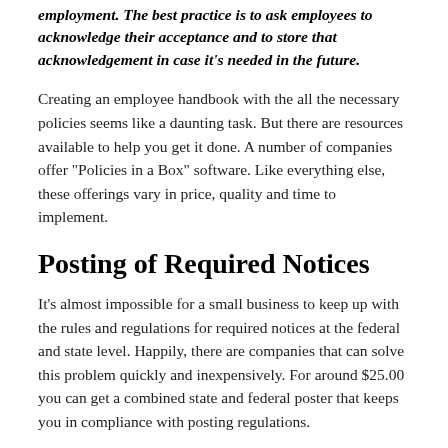employment. The best practice is to ask employees to acknowledge their acceptance and to store that acknowledgement in case it's needed in the future.
Creating an employee handbook with the all the necessary policies seems like a daunting task. But there are resources available to help you get it done. A number of companies offer "Policies in a Box" software. Like everything else, these offerings vary in price, quality and time to implement.
Posting of Required Notices
It's almost impossible for a small business to keep up with the rules and regulations for required notices at the federal and state level. Happily, there are companies that can solve this problem quickly and inexpensively. For around $25.00 you can get a combined state and federal poster that keeps you in compliance with posting regulations.
[Figure (illustration): PDF file icon — Adobe Acrobat red and white PDF logo]
Equal Employment Opportunity is THE LAW
eeopost.pdf
Adobe Acrobat document [86.7 KB]